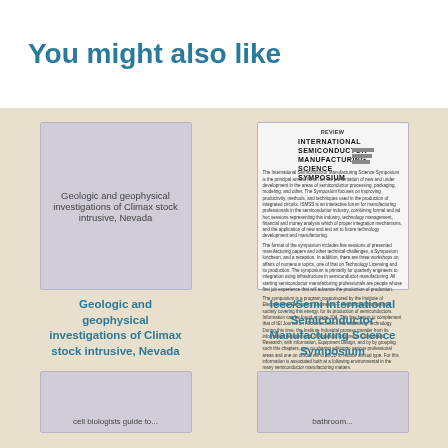You might also like
[Figure (illustration): Book cover thumbnail for 'Geologic and geophysical investigations of Climax stock intrusive, Nevada' - gray cover with centered text]
Geologic and geophysical investigations of Climax stock intrusive, Nevada
[Figure (illustration): Document cover for 'Ieee/Semi International Semiconductor Manufacturing Science Symposium' - white cover with bold title text and body paragraphs]
Ieee/Semi International Semiconductor Manufacturing Science Symposium
[Figure (illustration): Partial book cover thumbnail at bottom left - gray cover, partially visible]
[Figure (illustration): Partial book cover thumbnail at bottom right - gray cover, partially visible]